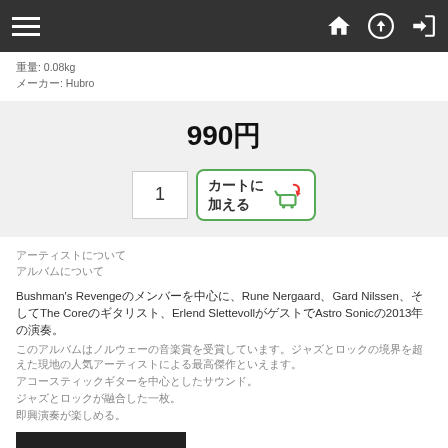Navigation bar with hamburger menu and home/upload/login icons
重量: 0.08kg
メーカー: Hubro
990円
[Figure (screenshot): Add to cart button with quantity field showing 1 and カートに加える button with shopping cart icon]
アーティストについて
アルバムについて
Bushman's Revengeのメンバーであるモチーフに、Rune Nergaard、Gard Nilssen、そしてThe Coreのギタリスト、Erlend SlettevollがゲストでAstro Sonicの2013年の演奏。
このアルバムはノルウェーの音楽賞を受賞しています。
アコースティックギターを中心としたサウンド。
ジャズとロックが融合した一枚。